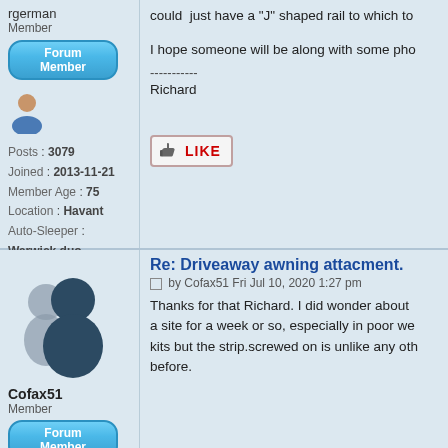could just have a "J" shaped rail to which to
I hope someone will be along with some pho
-----------
Richard
Posts : 3079
Joined : 2013-11-21
Member Age : 75
Location : Havant
Auto-Sleeper : Warwick duo
Vehicle Year : 2015
[Figure (illustration): LIKE button with thumbs up icon]
Re: Driveaway awning attacment.
by Cofax51 Fri Jul 10, 2020 1:27 pm
Thanks for that Richard. I did wonder about a site for a week or so, especially in poor we kits but the strip.screwed on is unlike any oth before.
Cofax51
Member